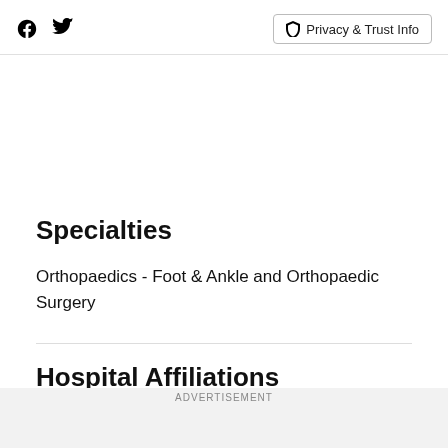Facebook Twitter Privacy & Trust Info
Specialties
Orthopaedics - Foot & Ankle and Orthopaedic Surgery
Hospital Affiliations